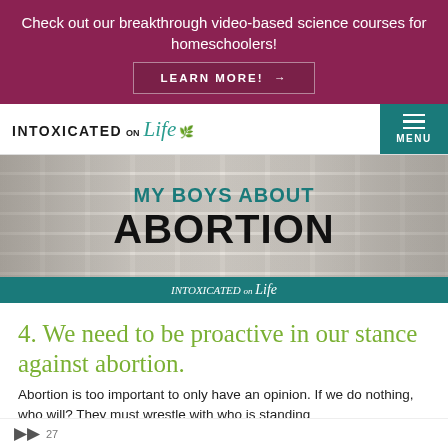Check out our breakthrough video-based science courses for homeschoolers! LEARN MORE! →
[Figure (screenshot): Website navigation bar with 'Intoxicated on Life' logo with leaf icon and teal hamburger menu button labeled MENU]
[Figure (illustration): Hero banner image showing stone/brick wall background with text 'MY BOYS ABOUT ABORTION' in teal and black bold text, with 'Intoxicated on Life' logo in teal footer bar]
4. We need to be proactive in our stance against abortion.
Abortion is too important to only have an opinion. If we do nothing, who will? They must wrestle with who is standing